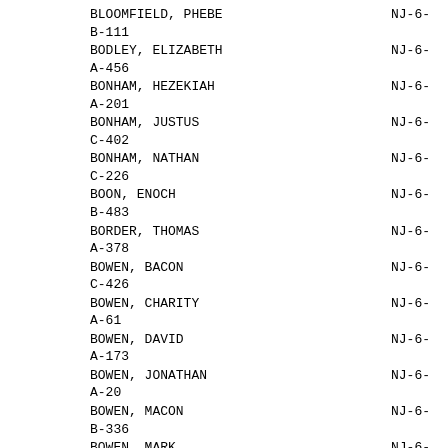BLOOMFIELD, PHEBE  NJ-6-
B-111
BODLEY, ELIZABETH  NJ-6-
A-456
BONHAM, HEZEKIAH  NJ-6-
A-201
BONHAM, JUSTUS  NJ-6-
C-402
BONHAM, NATHAN  NJ-6-
C-226
BOON, ENOCH  NJ-6-
B-483
BORDER, THOMAS  NJ-6-
A-378
BOWEN, BACON  NJ-6-
C-426
BOWEN, CHARITY  NJ-6-
A-61
BOWEN, DAVID  NJ-6-
A-173
BOWEN, JONATHAN  NJ-6-
A-20
BOWEN, MACON  NJ-6-
B-336
BOWEN, MARK  NJ-6-
C-45
BOWEN, RUTH  NJ-6-
B-313
BOWEN, SMITH  NJ-6-
C-446